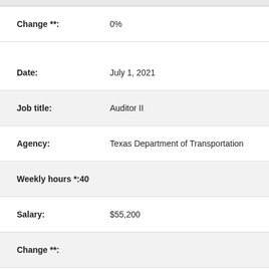Change **: 0%
Date: July 1, 2021
Job title: Auditor II
Agency: Texas Department of Transportation
Weekly hours *: 40
Salary: $55,200
Change **:
* Weekly hours indicates number of hours this person is scheduled to work at this job.
** Change indicates percent increase or decrease in salary from the previous date.